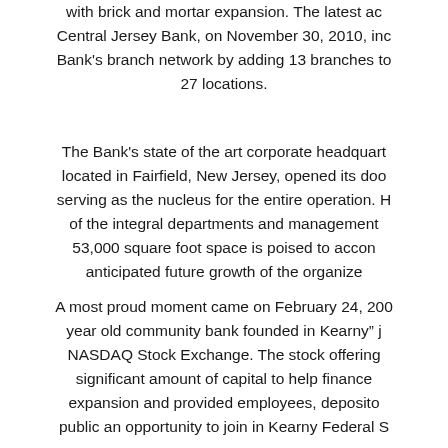with brick and mortar expansion. The latest acquisition of Central Jersey Bank, on November 30, 2010, increased the Bank's branch network by adding 13 branches to a total of 27 locations.
The Bank's state of the art corporate headquarters, located in Fairfield, New Jersey, opened its doors serving as the nucleus for the entire operation. Housing of the integral departments and management, the 53,000 square foot space is poised to accommodate the anticipated future growth of the organization.
A most proud moment came on February 24, 2005 when the year old community bank founded in Kearny joined the NASDAQ Stock Exchange. The stock offering raised a significant amount of capital to help finance the Bank's expansion and provided employees, depositors and the public an opportunity to join in Kearny Federal